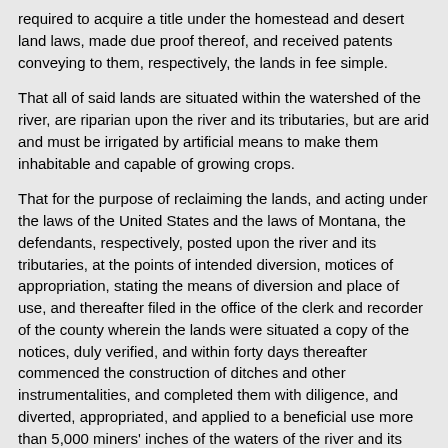required to acquire a title under the homestead and desert land laws, made due proof thereof, and received patents conveying to them, respectively, the lands in fee simple.
That all of said lands are situated within the watershed of the river, are riparian upon the river and its tributaries, but are arid and must be irrigated by artificial means to make them inhabitable and capable of growing crops.
That for the purpose of reclaiming the lands, and acting under the laws of the United States and the laws of Montana, the defendants, respectively, posted upon the river and its tributaries, at the points of intended diversion, motices of appropriation, stating the means of diversion and place of use, and thereafter filed in the office of the clerk and recorder of the county wherein the lands were situated a copy of the notices, duly verified, and within forty days thereafter commenced the construction of ditches and other instrumentalities, and completed them with diligence, and diverted, appropriated, and applied to a beneficial use more than 5,000 miners' inches of the waters of the river and its tributaries, of 120 cubic feet per second, irrigating their lands and paoducing hay, grain, and other crops thereon. The defendants and the stockholders of the defendant corporations have